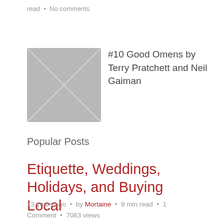read • No comments
[Figure (illustration): Placeholder image thumbnail with grey background and X cross pattern for book post #10 Good Omens]
#10 Good Omens by Terry Pratchett and Neil Gaiman
Popular Posts
Etiquette, Weddings, Holidays, and Buying Local
13 years ago • by Mortaine • 9 min read • 1 Comment • 7063 views
[Figure (illustration): Placeholder image thumbnail with grey background and X cross pattern for tip for future brides post]
A Tip for Future Brides: If you're